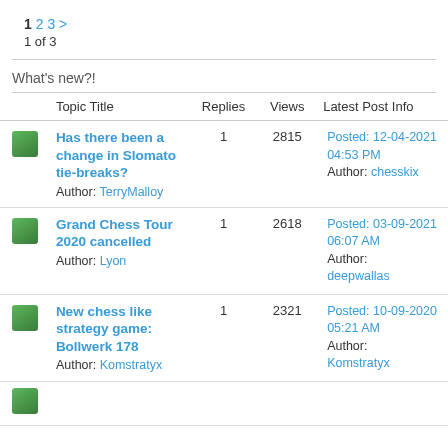1 2 3 > 
1 of 3
What's new?!
| Topic Title | Replies | Views | Latest Post Info |
| --- | --- | --- | --- |
| Has there been a change in Slomato tie-breaks? Author: TerryMalloy | 1 | 2815 | Posted: 12-04-2021 04:53 PM Author: chesskix |
| Grand Chess Tour 2020 cancelled Author: Lyon | 1 | 2618 | Posted: 03-09-2021 06:07 AM Author: deepwallas |
| New chess like strategy game: Bollwerk 178 Author: Komstratyx | 1 | 2321 | Posted: 10-09-2020 05:21 AM Author: Komstratyx |